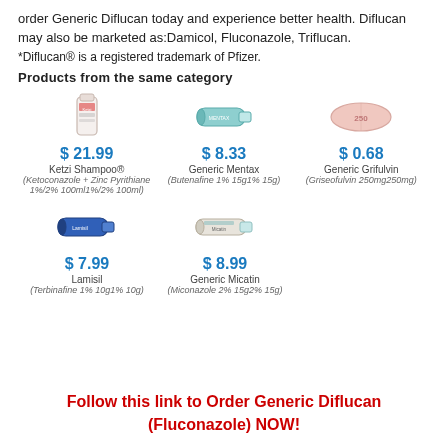order Generic Diflucan today and experience better health. Diflucan may also be marketed as:Damicol, Fluconazole, Triflucan.
*Diflucan® is a registered trademark of Pfizer.
Products from the same category
[Figure (photo): Ketzi Shampoo bottle product image]
$ 21.99
Ketzi Shampoo®
(Ketoconazole + Zinc Pyrithiane 1%/2% 100ml1%/2% 100ml)
[Figure (photo): Generic Mentax tube product image]
$ 8.33
Generic Mentax
(Butenafine 1% 15g1% 15g)
[Figure (photo): Generic Grifulvin pill product image]
$ 0.68
Generic Grifulvin
(Griseofulvin 250mg250mg)
[Figure (photo): Lamisil tube product image]
$ 7.99
Lamisil
(Terbinafine 1% 10g1% 10g)
[Figure (photo): Generic Micatin tube product image]
$ 8.99
Generic Micatin
(Miconazole 2% 15g2% 15g)
Follow this link to Order Generic Diflucan (Fluconazole) NOW!